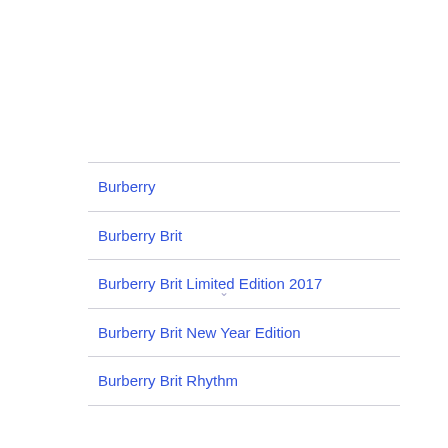Burberry
Burberry Brit
Burberry Brit Limited Edition 2017
Burberry Brit New Year Edition
Burberry Brit Rhythm